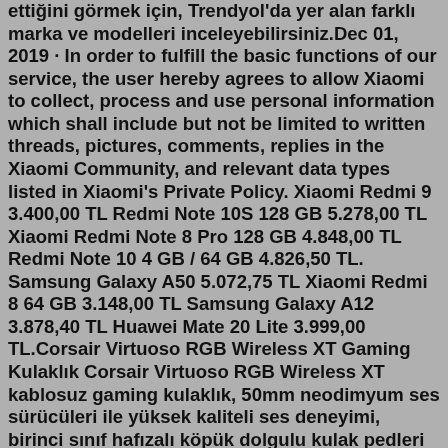ettiğini görmek için, Trendyol'da yer alan farklı marka ve modelleri inceleyebilirsiniz.Dec 01, 2019 · In order to fulfill the basic functions of our service, the user hereby agrees to allow Xiaomi to collect, process and use personal information which shall include but not be limited to written threads, pictures, comments, replies in the Xiaomi Community, and relevant data types listed in Xiaomi's Private Policy. Xiaomi Redmi 9 3.400,00 TL Redmi Note 10S 128 GB 5.278,00 TL Xiaomi Redmi Note 8 Pro 128 GB 4.848,00 TL Redmi Note 10 4 GB / 64 GB 4.826,50 TL. Samsung Galaxy A50 5.072,75 TL Xiaomi Redmi 8 64 GB 3.148,00 TL Samsung Galaxy A12 3.878,40 TL Huawei Mate 20 Lite 3.999,00 TL.Corsair Virtuoso RGB Wireless XT Gaming Kulaklık Corsair Virtuoso RGB Wireless XT kablosuz gaming kulaklık, 50mm neodimyum ses sürücüleri ile yüksek kaliteli ses deneyimi, birinci sınıf hafızalı köpük dolgulu kulak pedleri ile gün boyu konfor ve Corsair SlipStream kablosuz teknolojisi ve Bluetooth ile hiper hızlı eş zamanlı bağlantı sunar.Bazı bluetooth kulaklıklar birden fazla